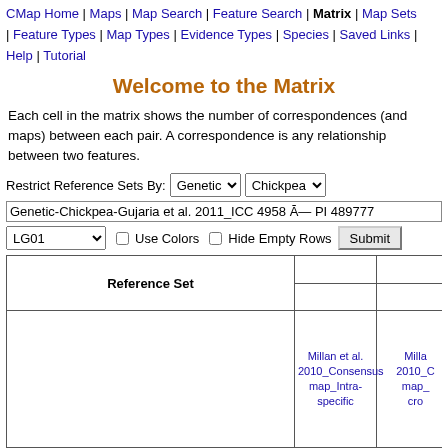CMap Home | Maps | Map Search | Feature Search | Matrix | Map Sets | Feature Types | Map Types | Evidence Types | Species | Saved Links | Help | Tutorial
Welcome to the Matrix
Each cell in the matrix shows the number of correspondences (and maps) between each pair. A correspondence is any relationship between two features.
Restrict Reference Sets By: [Genetic dropdown] [Chickpea dropdown]
Genetic-Chickpea-Gujaria et al. 2011_ICC 4958 Ā— PI 489777
LG01 [dropdown] Use Colors [checkbox] Hide Empty Rows [checkbox] Submit [button]
| Reference Set | Millan et al. 2010_Consensus map_Intra-specific | Millan et al. 2010_Consensus map_cro... |
| --- | --- | --- |
| Genetic | Chickpea Gujaria et al. 2011_ICC 4958 Ã — PI 489777 | LG01 | 1(1) | 2... |
|  | Millan et al. | Millan... |